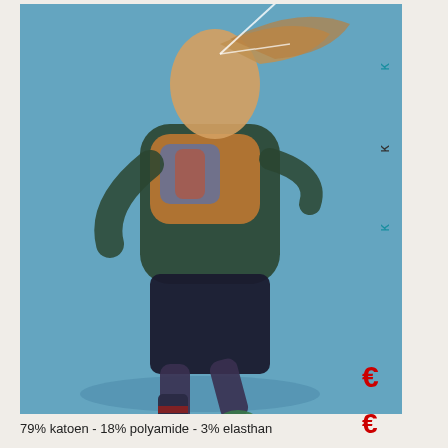[Figure (photo): A young girl with long blonde hair jumping/running against a blue background, wearing a colorful top, dark jacket, dark skirt, striped knee socks, and green shoes]
K
K
K
€
€
79% katoen  - 18% polyamide - 3% elasthan